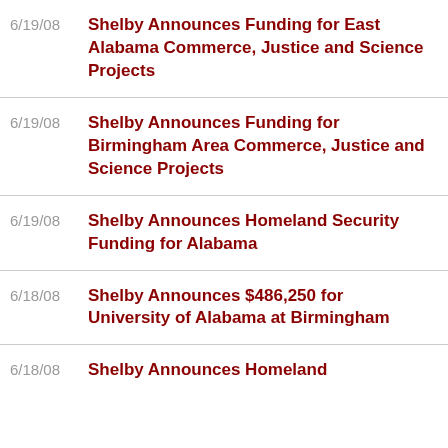6/19/08 Shelby Announces Funding for East Alabama Commerce, Justice and Science Projects
6/19/08 Shelby Announces Funding for Birmingham Area Commerce, Justice and Science Projects
6/19/08 Shelby Announces Homeland Security Funding for Alabama
6/18/08 Shelby Announces $486,250 for University of Alabama at Birmingham
6/18/08 Shelby Announces Homeland